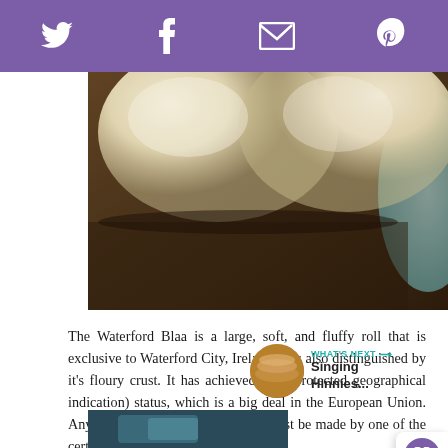Social sharing bar with Twitter, Facebook, Email, Pinterest icons
[Figure (photo): Close-up photo of Waterford Blaa bread rolls on a dark wooden surface, showing the floury tops of two large bread rolls and a partial view of a blue cloth in the right corner]
The Waterford Blaa is a large, soft, and fluffy roll that is exclusive to Waterford City, Ireland. It is also distinguished by it's floury crust. It has achieved PGI (protected geographical indication) status, which is a big deal in the European Union. Any bread sold as Waterford Blaa must be made by one of the certified bakeries.
WHAT'S NEXT → Singing Hinnies...